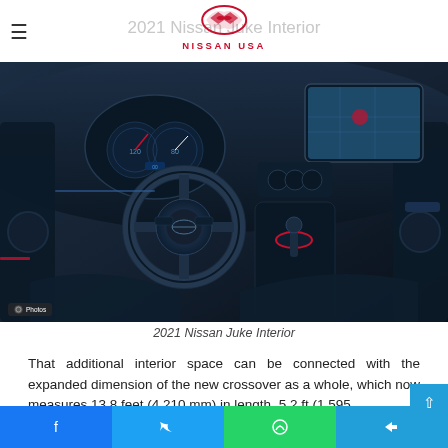2021 Nissan Juke Interior
[Figure (photo): Interior photo of 2021 Nissan Juke showing steering wheel, instrument cluster, center console with gear shift, and infotainment screen. Dark blue-tinted interior with black upholstery.]
2021 Nissan Juke Interior
That additional interior space can be connected with the expanded dimension of the new crossover as a whole, which now measures 13.8 feet (4,210 mm) in length, 5.2 ft (1,595
Facebook | Twitter | WhatsApp | Telegram